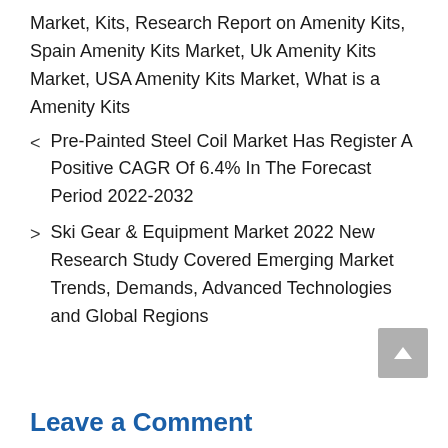Market, Kits, Research Report on Amenity Kits, Spain Amenity Kits Market, Uk Amenity Kits Market, USA Amenity Kits Market, What is a Amenity Kits
< Pre-Painted Steel Coil Market Has Register A Positive CAGR Of 6.4% In The Forecast Period 2022-2032
> Ski Gear & Equipment Market 2022 New Research Study Covered Emerging Market Trends, Demands, Advanced Technologies and Global Regions
Leave a Comment